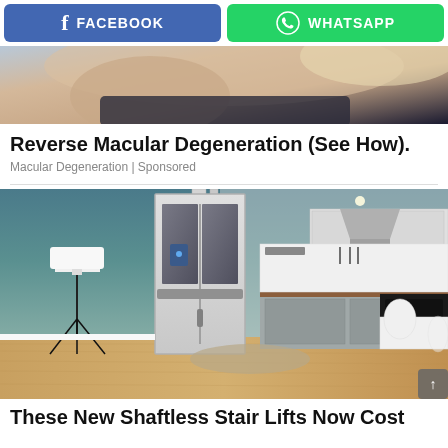[Figure (screenshot): Facebook share button (blue) and WhatsApp share button (green) side by side]
[Figure (photo): Partial photo of a woman's neck and shoulders, cropped advertisement image]
Reverse Macular Degeneration (See How).
Macular Degeneration | Sponsored
[Figure (photo): Photo of a modern kitchen with a shaftless home elevator/stair lift installed, with a floor lamp on the left]
These New Shaftless Stair Lifts Now Cost